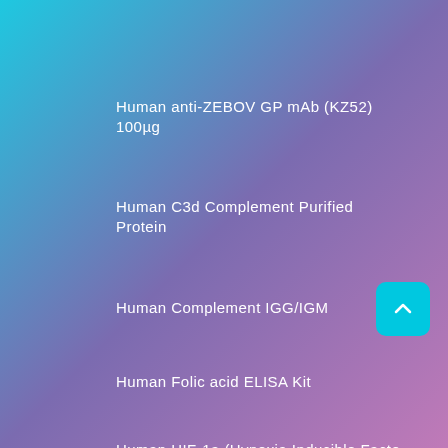Human anti-ZEBOV GP mAb (KZ52) 100µg
Human C3d Complement Purified Protein
Human Complement IGG/IGM
Human Folic acid ELISA Kit
Human HIF-1a (Hypoxia Inducible Factor 1
Human Host Cell DNA in Tubes, 50T